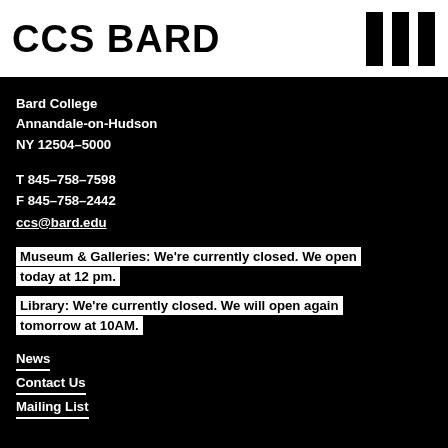CCS BARD
[Figure (logo): Three vertical black bars logo for CCS Bard]
Bard College
Annandale-on-Hudson
NY 12504-5000
T 845-758-7598
F 845-758-2442
ccs@bard.edu
Museum & Galleries: We're currently closed. We open today at 12 pm.
Library: We're currently closed. We will open again tomorrow at 10AM.
News
Contact Us
Mailing List